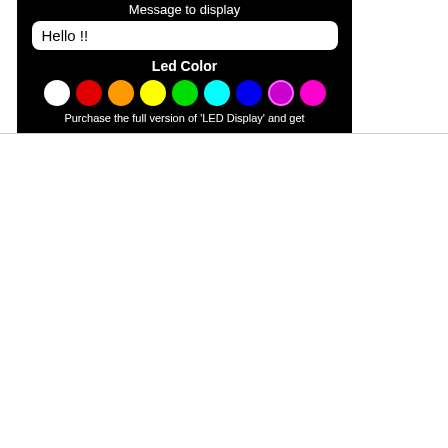[Figure (screenshot): Screenshot of a mobile LED Display app interface showing a 'Message to display' text field with 'Hello !!' entered, a 'Led Color' section with 9 colored circles (white, red, orange, yellow, green, cyan, blue, magenta/purple selected, pink), and a partial text 'Purchase the full version of LED Display and get' at the bottom. The background is black.]